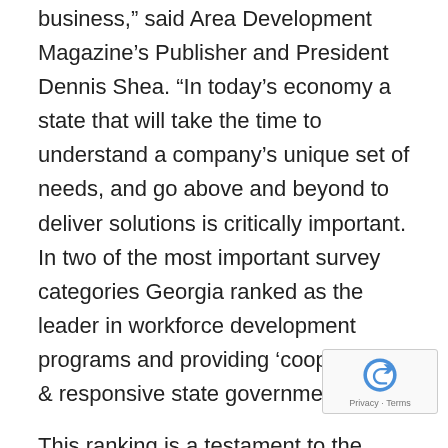business,” said Area Development Magazine’s Publisher and President Dennis Shea. “In today’s economy a state that will take the time to understand a company’s unique set of needs, and go above and beyond to deliver solutions is critically important. In two of the most important survey categories Georgia ranked as the leader in workforce development programs and providing ‘cooperative & responsive state government.”
This ranking is a testament to the hard work and commitment from our state economic development team as well as our statewide partners who have made to bolstering Georgia throughout the world. We are extremely proud to hold this title for another year, a look forward to Georgia’s future in economic